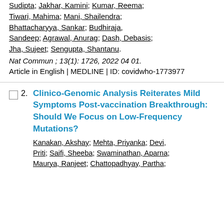Sudipta; Jakhar, Kamini; Kumar, Reema; Tiwari, Mahima; Mani, Shailendra; Bhattacharyya, Sankar; Budhiraja, Sandeep; Agrawal, Anurag; Dash, Debasis; Jha, Sujeet; Sengupta, Shantanu.
Nat Commun ; 13(1): 1726, 2022 04 01.
Article in English | MEDLINE | ID: covidwho-1773977
Clinico-Genomic Analysis Reiterates Mild Symptoms Post-vaccination Breakthrough: Should We Focus on Low-Frequency Mutations?
Kanakan, Akshay; Mehta, Priyanka; Devi, Priti; Saifi, Sheeba; Swaminathan, Aparna; Maurya, Ranjeet; Chattopadhyay, Partha;